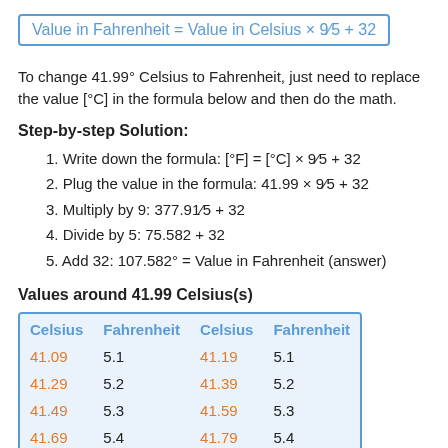To change 41.99° Celsius to Fahrenheit, just need to replace the value [°C] in the formula below and then do the math.
Step-by-step Solution:
1. Write down the formula: [°F] = [°C] × 9⁄5 + 32
2. Plug the value in the formula: 41.99 × 9⁄5 + 32
3. Multiply by 9: 377.91⁄5 + 32
4. Divide by 5: 75.582 + 32
5. Add 32: 107.582° = Value in Fahrenheit (answer)
Values around 41.99 Celsius(s)
| Celsius | Fahrenheit | Celsius | Fahrenheit |
| --- | --- | --- | --- |
| 41.09 | 5.1 | 41.19 | 5.1 |
| 41.29 | 5.2 | 41.39 | 5.2 |
| 41.49 | 5.3 | 41.59 | 5.3 |
| 41.69 | 5.4 | 41.79 | 5.4 |